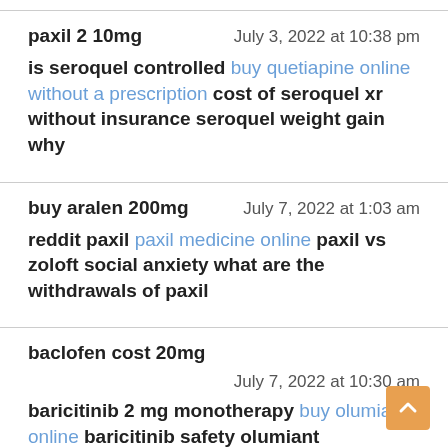paxil 2 10mg  July 3, 2022 at 10:38 pm
is seroquel controlled buy quetiapine online without a prescription cost of seroquel xr without insurance seroquel weight gain why
buy aralen 200mg  July 7, 2022 at 1:03 am
reddit paxil paxil medicine online paxil vs zoloft social anxiety what are the withdrawals of paxil
baclofen cost 20mg
July 7, 2022 at 10:30 am
baricitinib 2 mg monotherapy buy olumiant online baricitinib safety olumiant indications